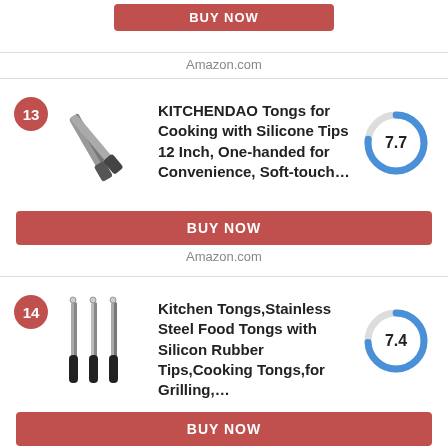[Figure (other): Partial BUY NOW button (red) from previous listing]
Amazon.com
13 - KITCHENDAO Tongs for Cooking with Silicone Tips 12 Inch, One-handed for Convenience, Soft-touch... Score: 7.7
[Figure (donut-chart): Score 7.7]
BUY NOW
Amazon.com
14 - Kitchen Tongs,Stainless Steel Food Tongs with Silicon Rubber Tips,Cooking Tongs,for Grilling,... Score: 7.4
[Figure (donut-chart): Score 7.4]
BUY NOW
Amazon.com